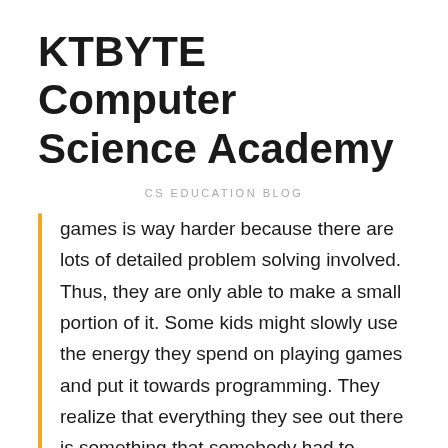KTBYTE Computer Science Academy
CS EDUCATION BLOG
games is way harder because there are lots of detailed problem solving involved. Thus, they are only able to make a small portion of it. Some kids might slowly use the energy they spend on playing games and put it towards programming. They realize that everything they see out there is something that somebody had to